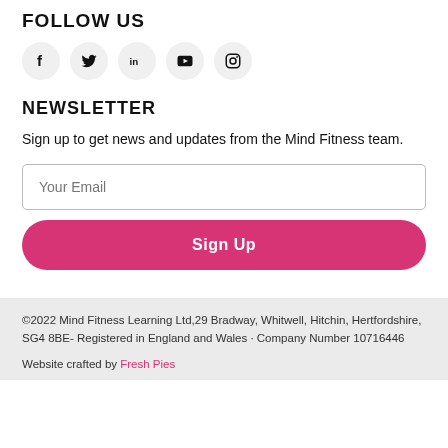FOLLOW US
[Figure (illustration): Five social media icons in circular grey backgrounds: Facebook (f), Twitter (bird), LinkedIn (in), YouTube (play button), Instagram (camera)]
NEWSLETTER
Sign up to get news and updates from the Mind Fitness team.
Your Email (input field)
Sign Up (button)
©2022 Mind Fitness Learning Ltd,29 Bradway, Whitwell, Hitchin, Hertfordshire, SG4 8BE- Registered in England and Wales · Company Number 10716446
Website crafted by Fresh Pies